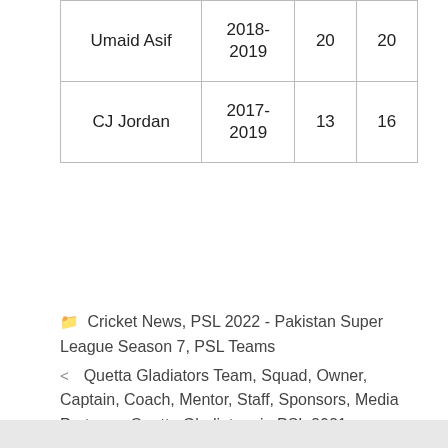| Umaid Asif | 2018-
2019 | 20 | 20 |
| CJ Jordan | 2017-
2019 | 13 | 16 |
Cricket News, PSL 2022 - Pakistan Super League Season 7, PSL Teams
< Quetta Gladiators Team, Squad, Owner, Captain, Coach, Mentor, Staff, Sponsors, Media Partner – Quetta Gladiators in PSL 2021
> Cricingif – Watch PSL 2021 Matches Live online